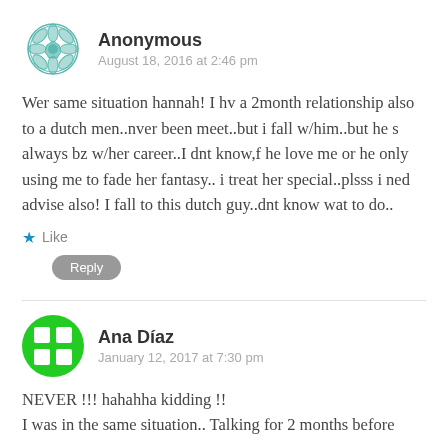[Figure (illustration): Teal geometric mandala-style avatar icon for Anonymous user]
Anonymous
August 18, 2016 at 2:46 pm
Wer same situation hannah! I hv a 2month relationship also to a dutch men..nver been meet..but i fall w/him..but he s always bz w/her career..I dnt know,f he love me or he only using me to fade her fantasy.. i treat her special..plsss i ned advise also! I fall to this dutch guy..dnt know wat to do..
Like
Reply
[Figure (illustration): Green circle avatar icon with four white squares (dice-like pattern) for Ana Díaz]
Ana Díaz
January 12, 2017 at 7:30 pm
NEVER !!! hahahha kidding !!
I was in the same situation.. Talking for 2 months before